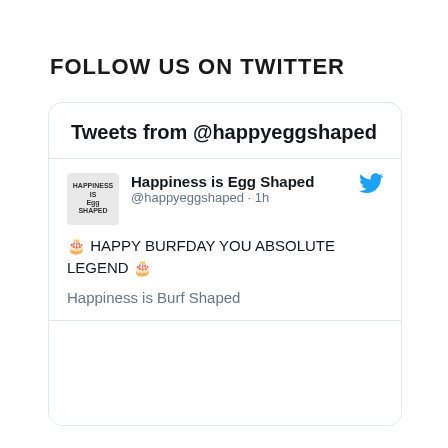Follow Us On Twitter
[Figure (screenshot): Twitter widget showing tweets from @happyeggshaped. Contains a tweet with birthday cake emojis saying 'HAPPY BURFDAY YOU ABSOLUTE LEGEND' and text 'Happiness is Burf Shaped'. Account name: Happiness is Egg Shaped, handle: @happyeggshaped, posted 1h ago.]